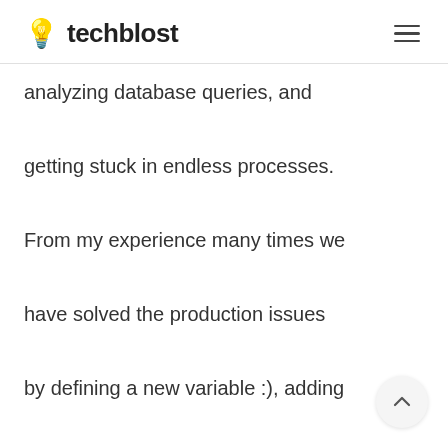💡 techblost
analyzing database queries, and getting stuck in endless processes. From my experience many times we have solved the production issues by defining a new variable :), adding a new parameter, placing the correct config, or creating a temp folder with a defined name. I still remember the custom administrator